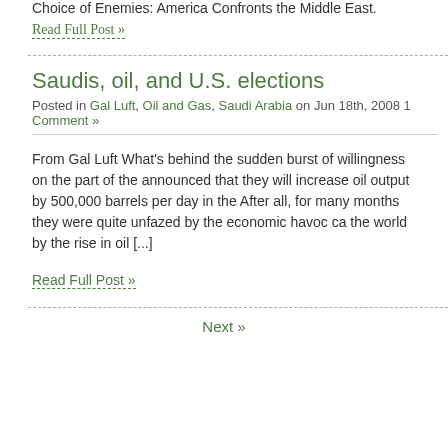Choice of Enemies: America Confronts the Middle East.
Read Full Post »
Saudis, oil, and U.S. elections
Posted in Gal Luft, Oil and Gas, Saudi Arabia on Jun 18th, 2008 1 Comment »
From Gal Luft What's behind the sudden burst of willingness on the part of the announced that they will increase oil output by 500,000 barrels per day in the After all, for many months they were quite unfazed by the economic havoc ca the world by the rise in oil [...]
Read Full Post »
Next »